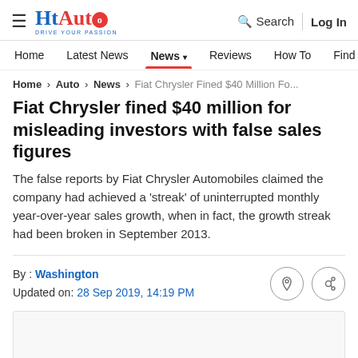HT Auto – Drive Your Passion | Search | Log In
Home | Latest News | News | Reviews | How To | Find Ve...
Home > Auto > News > Fiat Chrysler Fined $40 Million Fo...
Fiat Chrysler fined $40 million for misleading investors with false sales figures
The false reports by Fiat Chrysler Automobiles claimed the company had achieved a 'streak' of uninterrupted monthly year-over-year sales growth, when in fact, the growth streak had been broken in September 2013.
By : Washington
Updated on: 28 Sep 2019, 14:19 PM